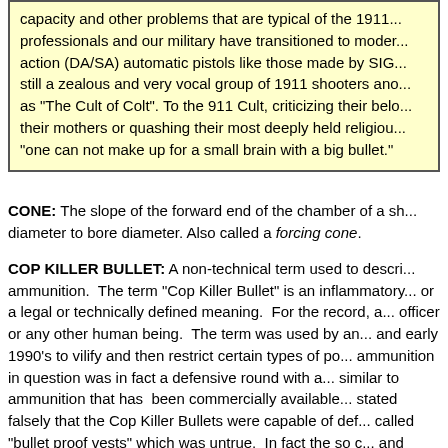capacity and other problems that are typical of the 1911... professionals and our military have transitioned to modern double action (DA/SA) automatic pistols like those made by SIG... still a zealous and very vocal group of 1911 shooters and... as "The Cult of Colt". To the 911 Cult, criticizing their bel... their mothers or quashing their most deeply held religio... "one can not make up for a small brain with a big bullet."
CONE: The slope of the forward end of the chamber of a shotgun that reduces chamber diameter to bore diameter. Also called a forcing cone.
COP KILLER BULLET: A non-technical term used to describe certain armor piercing ammunition. The term "Cop Killer Bullet" is an inflammatory term without a precise or a legal or technically defined meaning. For the record, armor piercing ammo can kill an officer or any other human being. The term was used by anti-gun politicians in the late 1980's and early 1990's to vilify and then restrict certain types of police and self defense ammo. The ammunition in question was in fact a defensive round with a polymer tip that was functionally similar to ammunition that has been commercially available since the 1950's. Politicians stated falsely that the Cop Killer Bullets were capable of defeating so called "bullet proof" or called "bullet proof vests" which was untrue. In fact the so called Cop Killer Bullets were renamed and repackaged and are still commercially available today. The publicity surrounding the bullets served to make them more popular and more common.
COPPER FOULING: The partial obstruction and loss of acc...